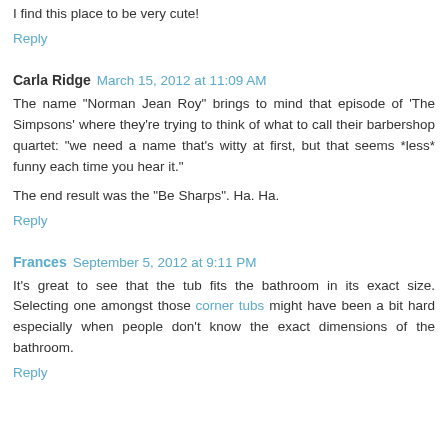I find this place to be very cute!
Reply
Carla Ridge  March 15, 2012 at 11:09 AM
The name "Norman Jean Roy" brings to mind that episode of 'The Simpsons' where they're trying to think of what to call their barbershop quartet: "we need a name that's witty at first, but that seems *less* funny each time you hear it."
The end result was the "Be Sharps". Ha. Ha.
Reply
Frances  September 5, 2012 at 9:11 PM
It's great to see that the tub fits the bathroom in its exact size. Selecting one amongst those corner tubs might have been a bit hard especially when people don't know the exact dimensions of the bathroom.
Reply